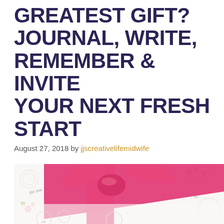GREATEST GIFT? JOURNAL, WRITE, REMEMBER & INVITE YOUR NEXT FRESH START
August 27, 2018 by jjscreativelifemidwife
[Figure (photo): A gift wrapped with a bright pink satin ribbon and bow, placed on white lace doily with floral patterns. Text 'for you' is visible on the wrapping.]